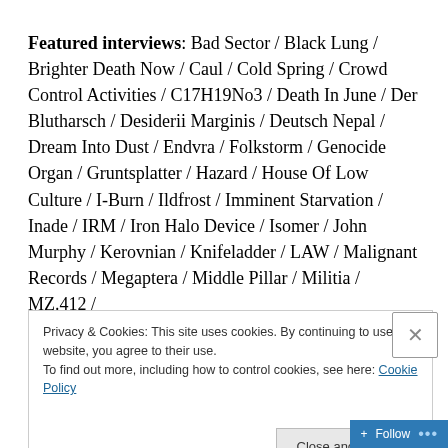Featured interviews: Bad Sector / Black Lung / Brighter Death Now / Caul / Cold Spring / Crowd Control Activities / C17H19No3 / Death In June / Der Blutharsch / Desiderii Marginis / Deutsch Nepal / Dream Into Dust / Endvra / Folkstorm / Genocide Organ / Gruntsplatter / Hazard / House Of Low Culture / I-Burn / Ildfrost / Imminent Starvation / Inade / IRM / Iron Halo Device / Isomer / John Murphy / Kerovnian / Knifeladder / LAW / Malignant Records / Megaptera / Middle Pillar / Militia / MZ.412 /
Privacy & Cookies: This site uses cookies. By continuing to use this website, you agree to their use.
To find out more, including how to control cookies, see here: Cookie Policy